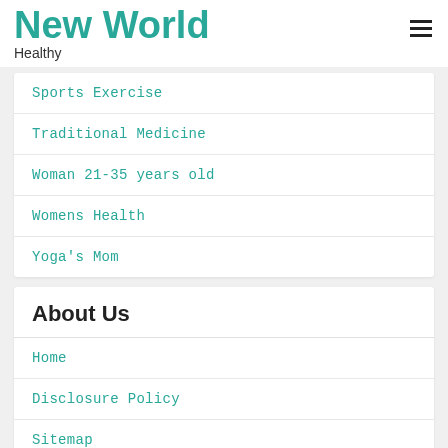New World
Healthy
Sports Exercise
Traditional Medicine
Woman 21-35 years old
Womens Health
Yoga's Mom
About Us
Home
Disclosure Policy
Sitemap